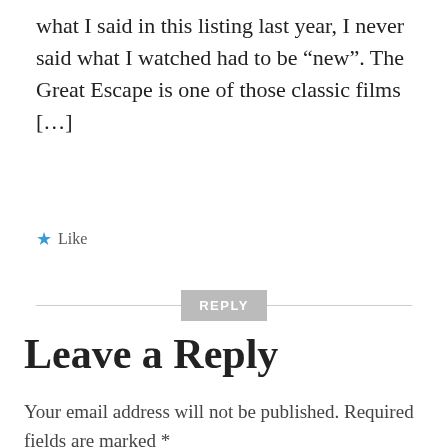what I said in this listing last year, I never said what I watched had to be “new”. The Great Escape is one of those classic films [...]
★ Like
REPLY
Leave a Reply
Your email address will not be published. Required fields are marked *